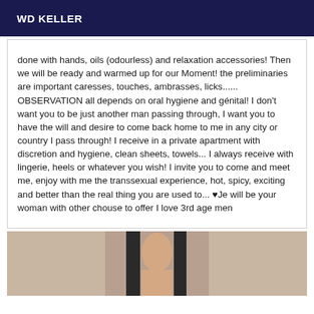WD KELLER
done with hands, oils (odourless) and relaxation accessories! Then we will be ready and warmed up for our Moment! the preliminaries are important caresses, touches, ambrasses, licks...... OBSERVATION all depends on oral hygiene and génital! I don't want you to be just another man passing through, I want you to have the will and desire to come back home to me in any city or country I pass through! I receive in a private apartment with discretion and hygiene, clean sheets, towels... I always receive with lingerie, heels or whatever you wish! I invite you to come and meet me, enjoy with me the transsexual experience, hot, spicy, exciting and better than the real thing you are used to... ♥Je will be your woman with other chouse to offer I love 3rd age men
[Figure (photo): Partial photo of a person, cropped at bottom of page]